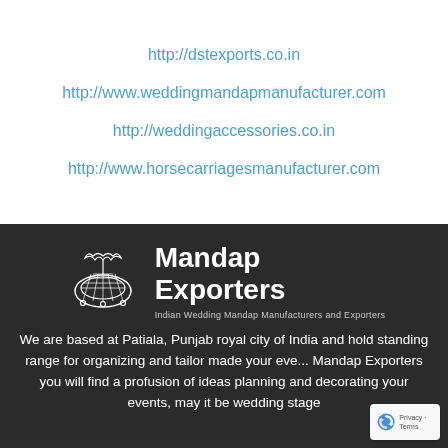http://dstexports.co.in
http://www.weddingmandapmanufacturer.com
http://weddingaccessories.co.in
http://www.horsecarriagesmanufacturer.com
[Figure (logo): Mandap Exporters logo — decorative mandap illustration with text 'Mandap Exporters' and subtitle 'Indian Wedding Mandap Manufacturers and Exporters']
We are based at Patiala, Punjab royal city of India and hold standing range for organizing and tailor made your events. Mandap Exporters you will find a profusion of ideas planning and decorating your events, may it be wedding stage